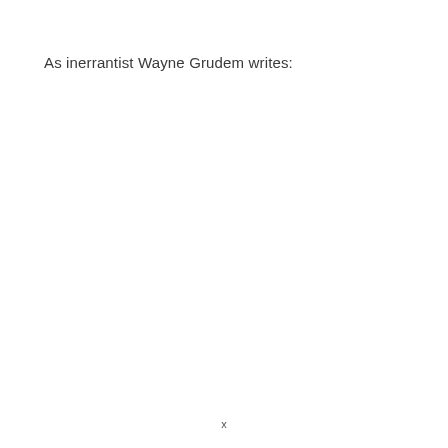As inerrantist Wayne Grudem writes:
x